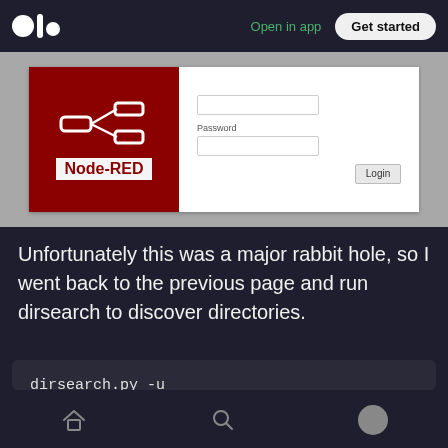Open in app  Get started
[Figure (screenshot): Node-RED login page screenshot showing the Node-RED logo on a dark red background on the left, and a login form with Password field and Login button on the right, against a grey background.]
Unfortunately this was a major rabbit hole, so I went back to the previous page and run dirsearch to discover directories.
dirsearch.py -u http://10.10.10.111:9999/ -e html,txt,php -w /usr/share/wordlists/dirbuster/directo
home  search  profile